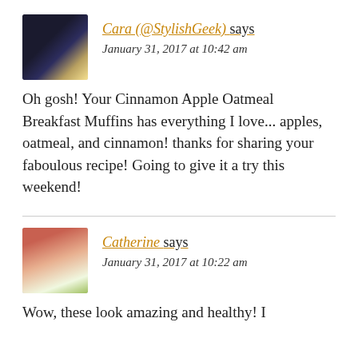[Figure (photo): Avatar photo of Cara (@StylishGeek) showing a black quilted handbag and a yellow circular object]
Cara (@StylishGeek) says
January 31, 2017 at 10:42 am
Oh gosh! Your Cinnamon Apple Oatmeal Breakfast Muffins has everything I love... apples, oatmeal, and cinnamon! thanks for sharing your faboulous recipe! Going to give it a try this weekend!
[Figure (photo): Avatar photo of Catherine showing a woman in a white dress with red hair outdoors]
Catherine says
January 31, 2017 at 10:22 am
Wow, these look amazing and healthy! I